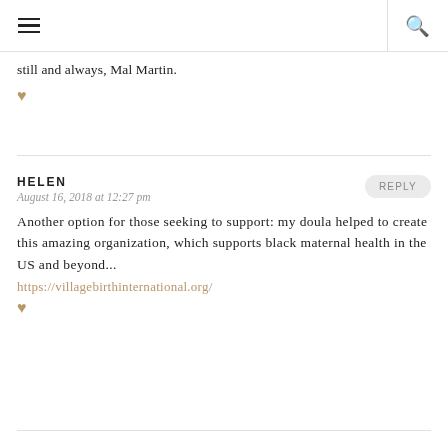≡  🔍
still and always, Mal Martin.
♥
HELEN
August 16, 2018 at 12:27 pm
REPLY
Another option for those seeking to support: my doula helped to create this amazing organization, which supports black maternal health in the US and beyond...
https://villagebirthinternational.org/
♥